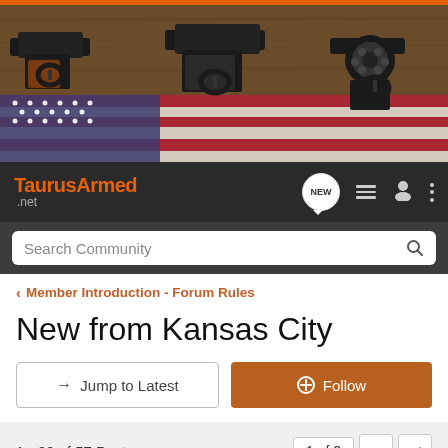[Figure (photo): Banner image showing three handguns on an American flag against a wooden background]
TaurusArmed .net — NEW | list icon | person icon | more icon | Search Community
< Member Introduction - Forum Rules
New from Kansas City
→ Jump to Latest   ⊕ Follow
1 - 20 of 57 Posts   1 of 3 ▶ ▶|
moosemaster831 · Registered